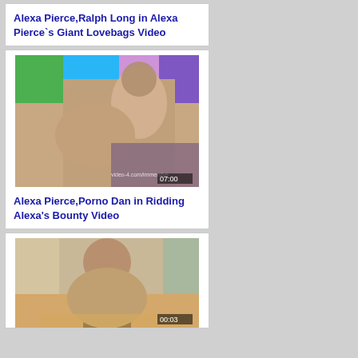Alexa Pierce,Ralph Long in Alexa Pierce`s Giant Lovebags Video
[Figure (photo): Video thumbnail showing two people, colorful background with green, blue, purple panels. Timestamp 07:00 visible. Watermark: video-4.com/immersive]
Alexa Pierce,Porno Dan in Ridding Alexa's Bounty Video
[Figure (photo): Video thumbnail showing a person from behind. Timestamp visible at bottom.]